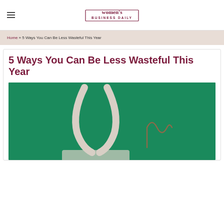women's BUSINESS DAILY
Home » 5 Ways You Can Be Less Wasteful This Year
5 Ways You Can Be Less Wasteful This Year
[Figure (photo): A reusable canvas tote bag with metal straw on a green background, viewed from above]